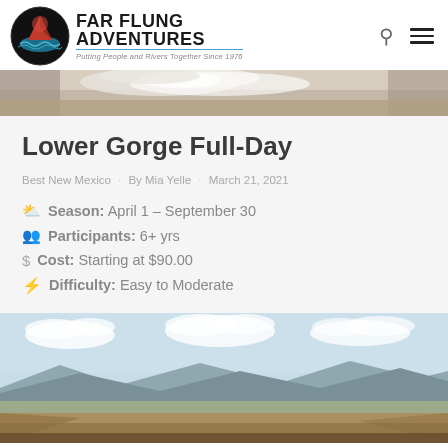[Figure (logo): Far Flung Adventures logo — circular badge with mountain/river scene, black circle border, red mountain peak, teal river, followed by company name 'FAR FLUNG ADVENTURES' in bold black with tagline 'Putting People and Rivers Together Since 1976' in grey italic with blue underline]
[Figure (photo): Partial photo strip at top showing churning white water / river rapids, sandy/rocky bank]
Lower Gorge Full-Day
Best New Mexico • By Mia Yelle • March 21, 2021
Season: April 1 – September 30
Participants: 6+ yrs
Cost: Starting at $90.00
Difficulty: Easy to Moderate
[Figure (photo): Landscape photo of a wide desert gorge/canyon scene under blue sky with white puffy clouds and distant mountains with tan/brown canyon walls in foreground]